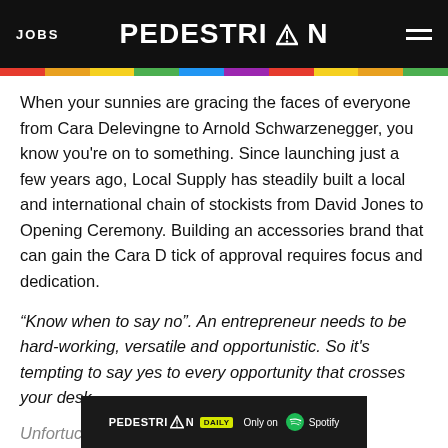JOBS | PEDESTRIAN
When your sunnies are gracing the faces of everyone from Cara Delevingne to Arnold Schwarzenegger, you know you're on to something. Since launching just a few years ago, Local Supply has steadily built a local and international chain of stockists from David Jones to Opening Ceremony. Building an accessories brand that can gain the Cara D tick of approval requires focus and dedication.
“Know when to say no”. An entrepreneur needs to be hard-working, versatile and opportunistic. So it’s tempting to say yes to every opportunity that crosses your desk.
Unfortu…ct you from st…s your